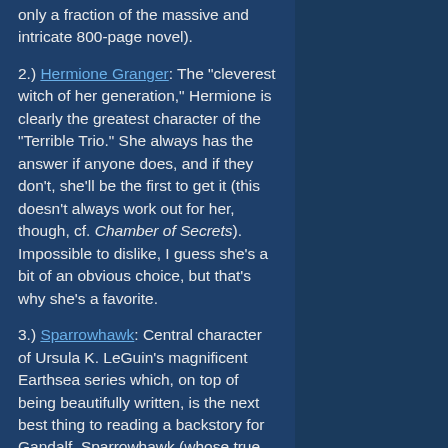only a fraction of the massive and intricate 800-page novel).
2.) Hermione Granger: The "cleverest witch of her generation," Hermione is clearly the greatest character of the "Terrible Trio." She always has the answer if anyone does, and if they don't, she'll be the first to get it (this doesn't always work out for her, though, cf. Chamber of Secrets). Impossible to dislike, I guess she's a bit of an obvious choice, but that's why she's a favorite.
3.) Sparrowhawk: Central character of Ursula K. LeGuin's magnificent Earthsea series which, on top of being beautifully written, is the next best thing to reading a backstory for Gandalf. Sparrowhawk (whose true name is Ged) is an extremely gifted wizard, though his skillful arrogance led to big trouble in his youth.